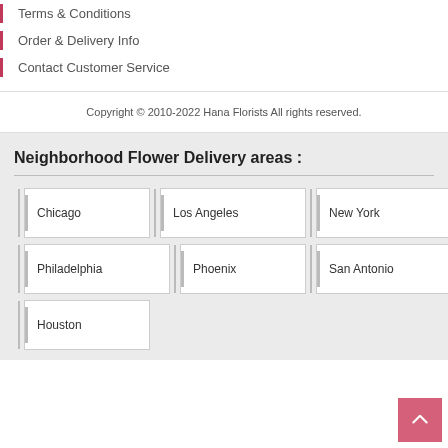Terms & Conditions
Order & Delivery Info
Contact Customer Service
Copyright © 2010-2022 Hana Florists All rights reserved.
Neighborhood Flower Delivery areas :
Chicago
Los Angeles
New York
Philadelphia
Phoenix
San Antonio
Houston